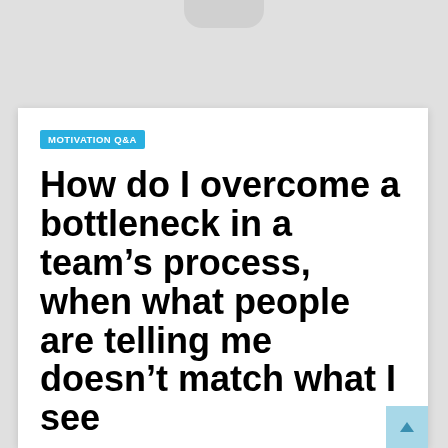MOTIVATION Q&A
How do I overcome a bottleneck in a team's process, when what people are telling me doesn't match what I see